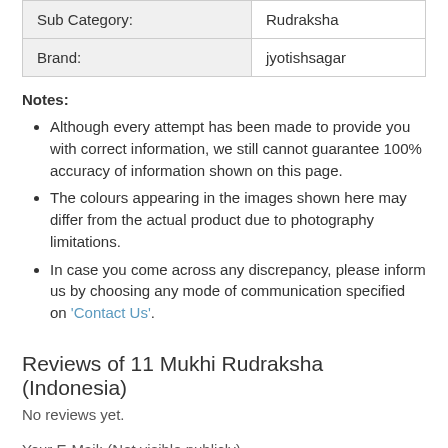| Sub Category: | Rudraksha |
| Brand: | jyotishsagar |
Notes:
Although every attempt has been made to provide you with correct information, we still cannot guarantee 100% accuracy of information shown on this page.
The colours appearing in the images shown here may differ from the actual product due to photography limitations.
In case you come across any discrepancy, please inform us by choosing any mode of communication specified on 'Contact Us'.
Reviews of 11 Mukhi Rudraksha (Indonesia)
No reviews yet.
Your E-Mail: (Not visible publicly)
Your Rating: